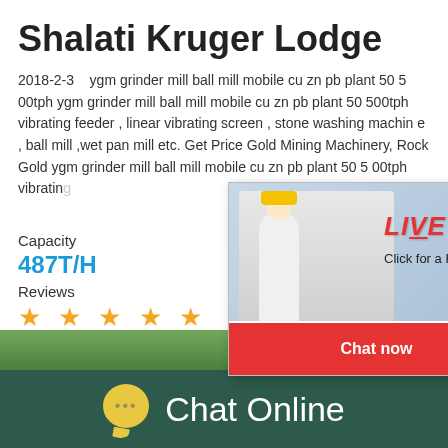Shalati Kruger Lodge
2018-2-3    ygm grinder mill ball mill mobile cu zn pb plant 50 500tph ygm grinder mill ball mill mobile cu zn pb plant 50 500tph vibrating feeder , linear vibrating screen , stone washing machine , ball mill ,wet pan mill etc. Get Price Gold Mining Machinery, Rock Gold ygm grinder mill ball mill mobile cu zn pb plant 50 500tph vibratin... ne washing
Capacity
487T/H
Reviews
★ ★ ★ ★ ★
[Figure (screenshot): Live chat popup overlay with woman in hard hat and workers in background, LIVE CHAT header in red italic, 'Click for a Free Consultation' subtitle, Chat now (red) and Chat later (dark) buttons]
[Figure (screenshot): Chat rating/feedback widget with teal background, smiley face gauge meter, and 'Click me to chat >>' button]
[Figure (photo): Bottom partial green tree/nature photo strip]
Enquiry
[Figure (logo): Chat Online footer bar with dark green background, yellow speech bubble icon with ellipsis, and white 'Chat Online' text]